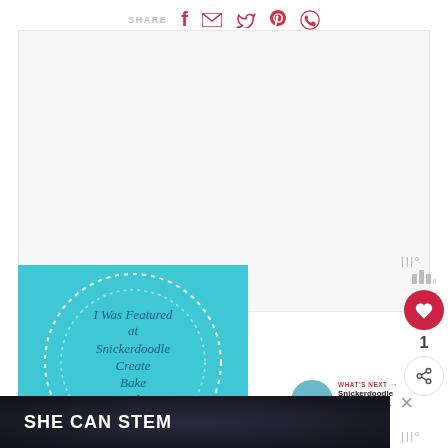SHARE
[Figure (screenshot): Large white/light gray advertisement or image placeholder area]
[Figure (illustration): Teal square badge with dashed circle border reading: I Was Featured at Snickerdoodle Create Bake Make Link Party]
[Figure (infographic): Sidebar widgets: stacked bar icon, red heart like button, count '1', share button]
WHAT'S NEXT → Snickerdoodle Create Bake...
[Figure (screenshot): Dark banner at bottom reading SHE CAN STEM in bold white uppercase letters]
×
|||°